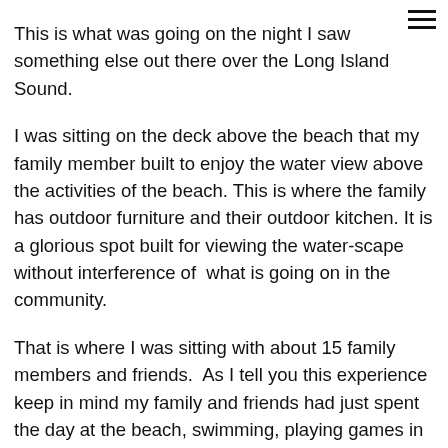This is what was going on the night I saw something else out there over the Long Island Sound.
I was sitting on the deck above the beach that my family member built to enjoy the water view above the activities of the beach. This is where the family has outdoor furniture and their outdoor kitchen. It is a glorious spot built for viewing the water-scape without interference of  what is going on in the community.
That is where I was sitting with about 15 family members and friends.  As I tell you this experience keep in mind my family and friends had just spent the day at the beach, swimming, playing games in the sand and drinking cold beer all day.  I realize now that they were mostly pretty red  eyed ,tired or half asleep by the time the fireworks were to begin.